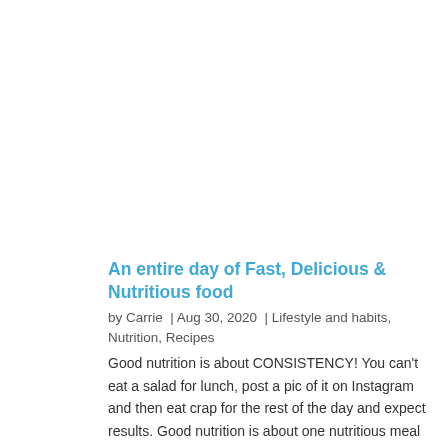An entire day of Fast, Delicious & Nutritious food
by Carrie  |  Aug 30, 2020  |  Lifestyle and habits, Nutrition, Recipes
Good nutrition is about CONSISTENCY! You can't eat a salad for lunch, post a pic of it on Instagram and then eat crap for the rest of the day and expect results. Good nutrition is about one nutritious meal backed up